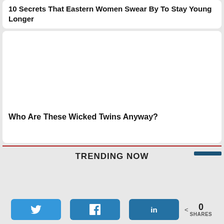10 Secrets That Eastern Women Swear By To Stay Young Longer
[Figure (other): White blank card area with article image placeholder]
Who Are These Wicked Twins Anyway?
TRENDING NOW
< 0 SHARES (Twitter, Facebook, LinkedIn share buttons)